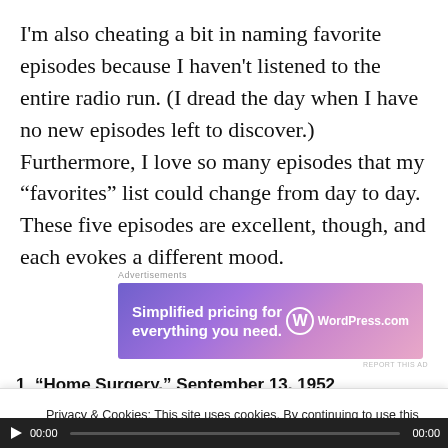I'm also cheating a bit in naming favorite episodes because I haven't listened to the entire radio run. (I dread the day when I have no new episodes left to discover.) Furthermore, I love so many episodes that my “favorites” list could change from day to day. These five episodes are excellent, though, and each evokes a different mood.
[Figure (other): WordPress.com advertisement banner with gradient purple/pink background. Text reads 'Simplified pricing for everything you need.' with WordPress.com logo on the right.]
1  “Home Surgery,” September 13, 1952
Privacy & Cookies: This site uses cookies. By continuing to use this website, you agree to their use.
To find out more, including how to control cookies, see here: Cookie Policy
Close and accept
00:00  00:00